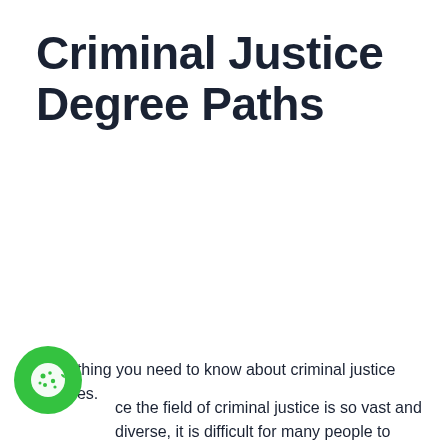Criminal Justice Degree Paths
Everything you need to know about criminal justice degrees.
ce the field of criminal justice is so vast and diverse, it is difficult for many people to decide what